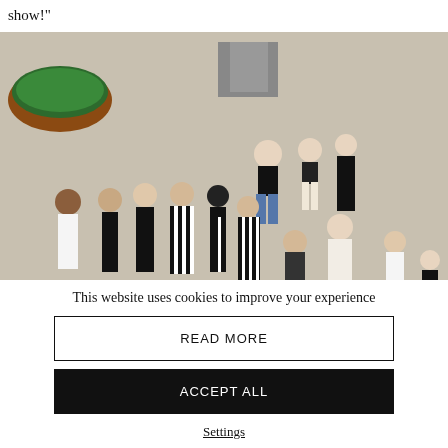show!"
[Figure (photo): Overhead/aerial view of a group of people standing on a gravel surface. Several women in black outfits including striped dresses, and a few people in casual wear. A large round planter with greenery is visible in the upper left corner.]
This website uses cookies to improve your experience
READ MORE
ACCEPT ALL
Settings